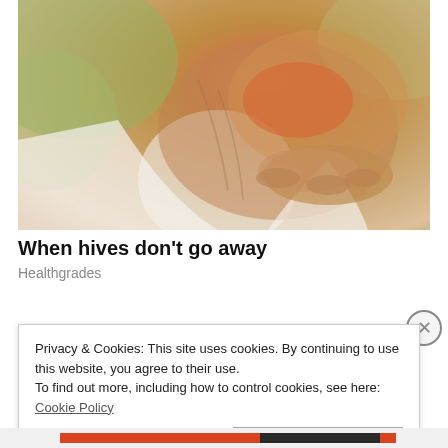[Figure (photo): Close-up photo of a person scratching their upper arm, suggesting irritation or hives. The person is wearing a white sleeveless top. Background is blurred green/outdoor.]
When hives don't go away
Healthgrades
Privacy & Cookies: This site uses cookies. By continuing to use this website, you agree to their use.
To find out more, including how to control cookies, see here: Cookie Policy
Close and accept